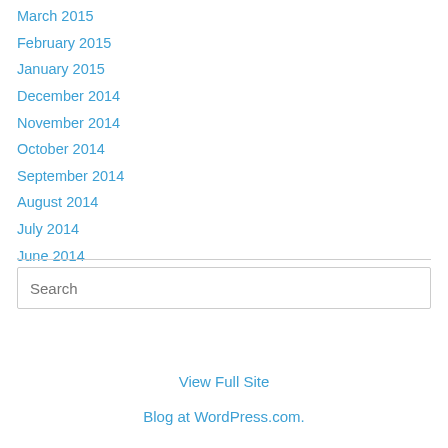March 2015
February 2015
January 2015
December 2014
November 2014
October 2014
September 2014
August 2014
July 2014
June 2014
Search
View Full Site
Blog at WordPress.com.